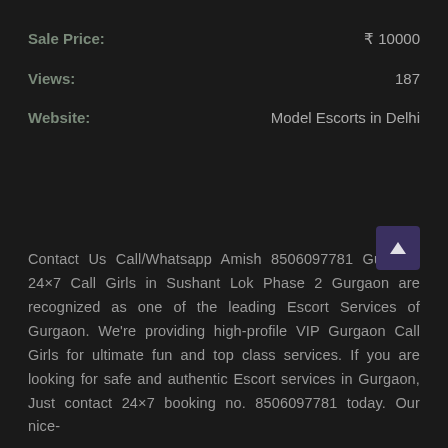| Field | Value |
| --- | --- |
| Sale Price: | ₹ 10000 |
| Views: | 187 |
| Website: | Model Escorts in Delhi |
Contact Us Call/Whatsapp Amish 8506097781 Gurgaon 24×7 Call Girls in Sushant Lok Phase 2 Gurgaon are recognized as one of the leading Escort Services of Gurgaon. We're providing high-profile VIP Gurgaon Call Girls for ultimate fun and top class services. If you are looking for safe and authentic Escort services in Gurgaon, Just contact 24×7 booking no. 8506097781 today. Our nice-